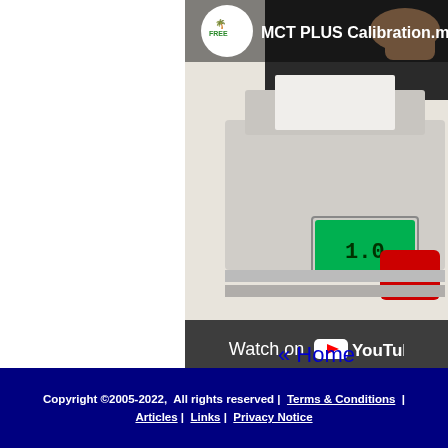[Figure (screenshot): YouTube video thumbnail showing 'MCT PLUS Calibration.m4...' with a kitchen scale and a hand placing something on it. A 'Watch on YouTube' overlay bar is visible at the bottom of the video frame.]
« Home
Copyright ©2005-2022,  All rights reserved |  Terms & Conditions  |  Articles  |  Links  |  Privacy Notice